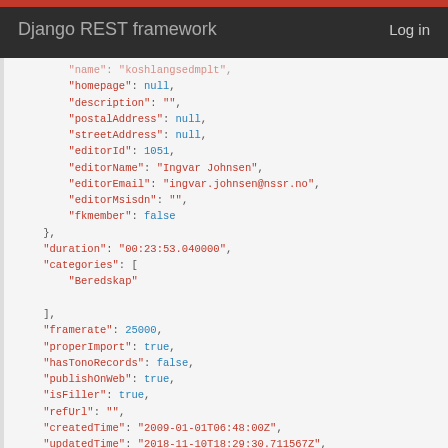Django REST framework   Log in
"name": "koshlangsedmplt",
"homepage": null,
"description": "",
"postalAddress": null,
"streetAddress": null,
"editorId": 1051,
"editorName": "Ingvar Johnsen",
"editorEmail": "ingvar.johnsen@nssr.no",
"editorMsisdn": "",
"fkmember": false
},
"duration": "00:23:53.040000",
"categories": [
    "Beredskap"
],
"framerate": 25000,
"properImport": true,
"hasTonoRecords": false,
"publishOnWeb": true,
"isFiller": true,
"refUrl": "",
"createdTime": "2009-01-01T06:48:00Z",
"updatedTime": "2018-11-10T18:29:30.711567Z",
"deletedTime": "2009-01-01T00:48:00Z"